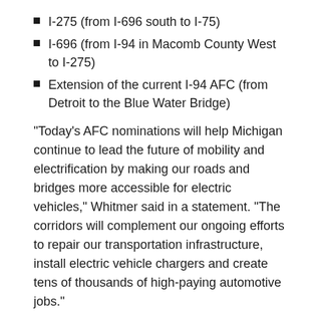I-275 (from I-696 south to I-75)
I-696 (from I-94 in Macomb County West to I-275)
Extension of the current I-94 AFC (from Detroit to the Blue Water Bridge)
“Today’s AFC nominations will help Michigan continue to lead the future of mobility and electrification by making our roads and bridges more accessible for electric vehicles,” Whitmer said in a statement. “The corridors will complement our ongoing efforts to repair our transportation infrastructure, install electric vehicle chargers and create tens of thousands of high-paying automotive jobs.”
Michigan has submitted AFC nominations five of the last six years, and portions of I-94, I-96, I-69, I-75 and US 131 have been successfully named. In addition to charging electric vehicles, alternative fuels such as LPG will be supported by the investments. Click here for a map of current routes.
The funds come from the $1.2 trillion Infrastructure Investment